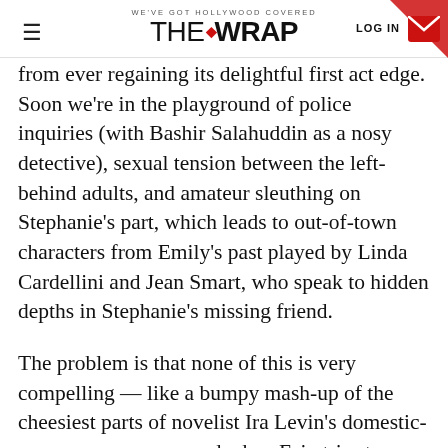WE'VE GOT HOLLYWOOD COVERED — THE WRAP — LOG IN
from ever regaining its delightful first act edge. Soon we're in the playground of police inquiries (with Bashir Salahuddin as a nosy detective), sexual tension between the left-behind adults, and amateur sleuthing on Stephanie's part, which leads to out-of-town characters from Emily's past played by Linda Cardellini and Jean Smart, who speak to hidden depths in Stephanie's missing friend.
The problem is that none of this is very compelling — like a bumpy mash-up of the cheesiest parts of novelist Ira Levin's domestic-suspense oeuvre — and when Feig tries to squeeze in wisecracks amidst the revelations, they feel like hedges against your interest flagging rather than naturally funny moments. That